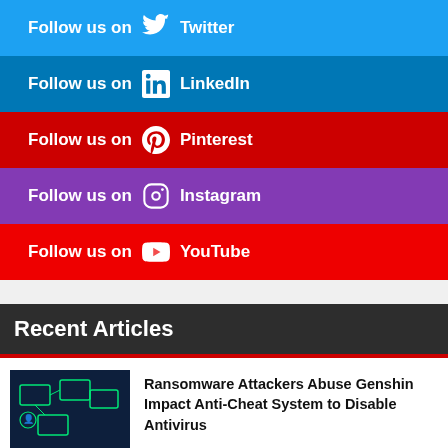Follow us on Twitter
Follow us on LinkedIn
Follow us on Pinterest
Follow us on Instagram
Follow us on YouTube
Recent Articles
Ransomware Attackers Abuse Genshin Impact Anti-Cheat System to Disable Antivirus
Tamil Nadu Minister V Senthil Balaji’s Twitter Account Briefly Hacked: Details